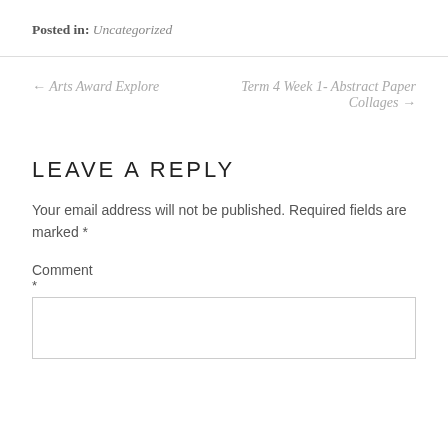Posted in: Uncategorized
← Arts Award Explore
Term 4 Week 1- Abstract Paper Collages →
LEAVE A REPLY
Your email address will not be published. Required fields are marked *
Comment *